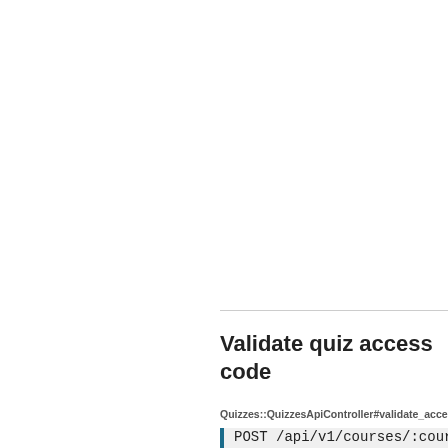Validate quiz access code
Quizzes::QuizzesApiController#validate_access_code
POST /api/v1/courses/:course_id